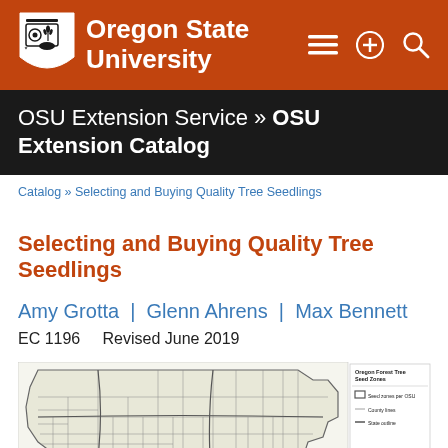[Figure (logo): Oregon State University header bar with OSU shield logo and name in white on orange background, with menu, plus, and search icons on the right]
OSU Extension Service » OSU Extension Catalog
Catalog » Selecting and Buying Quality Tree Seedlings
Selecting and Buying Quality Tree Seedlings
Amy Grotta | Glenn Ahrens | Max Bennett
EC 1196    Revised June 2019
[Figure (map): Map of Oregon showing forest tree seed zones, with county lines and seed zone boundaries, and a legend on the right side reading 'Oregon Forest Tree Seed Zones' with entries for Seed zones per OSU, County lines, State outline]